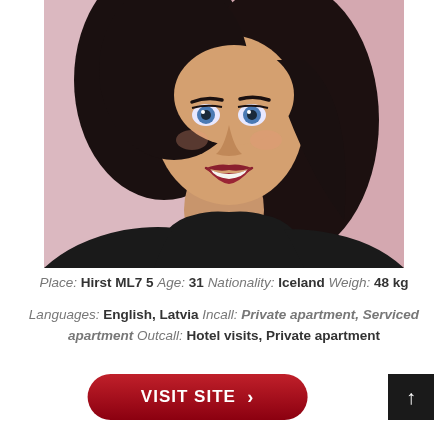[Figure (photo): Portrait photo of a young woman with long dark hair, blue eyes, red lipstick, wearing a black sleeveless top, smiling, against a pink background]
Place: Hirst ML7 5 Age: 31 Nationality: Iceland Weigh: 48 kg
Languages: English, Latvia Incall: Private apartment, Serviced apartment Outcall: Hotel visits, Private apartment
VISIT SITE >